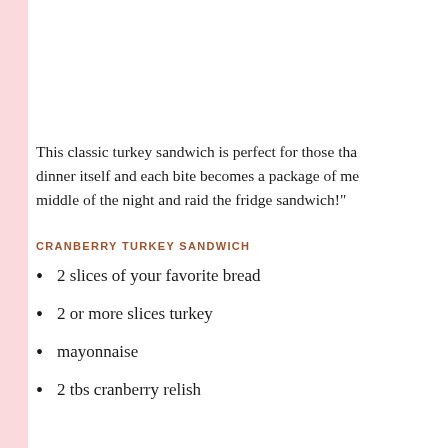This classic turkey sandwich is perfect for those tha... dinner itself and each bite becomes a package of me... middle of the night and raid the fridge sandwich!"
CRANBERRY TURKEY SANDWICH
2 slices of your favorite bread
2 or more slices turkey
mayonnaise
2 tbs cranberry relish